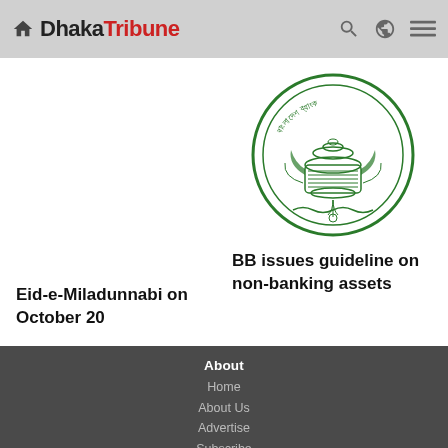Dhaka Tribune
Eid-e-Miladunnabi on October 20
[Figure (logo): Bangladesh Bank circular seal/logo in green ink, showing a traditional vessel with Bengali text]
BB issues guideline on non-banking assets
About
Home
About Us
Advertise
Subscribe
Terms and conditions
Privacy policy